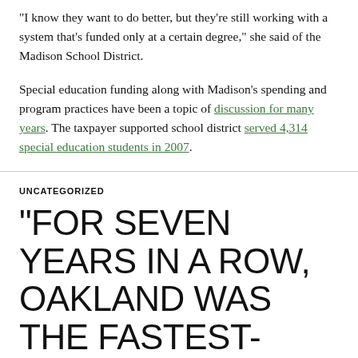“I know they want to do better, but they’re still working with a system that’s funded only at a certain degree,” she said of the Madison School District.
Special education funding along with Madison’s spending and program practices have been a topic of discussion for many years. The taxpayer supported school district served 4,314 special education students in 2007.
UNCATEGORIZED
“FOR SEVEN YEARS IN A ROW, OAKLAND WAS THE FASTEST-GAINING URBAN